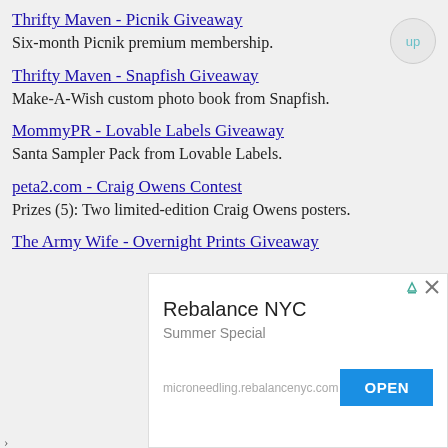Thrifty Maven - Picnik Giveaway
Six-month Picnik premium membership.
Thrifty Maven - Snapfish Giveaway
Make-A-Wish custom photo book from Snapfish.
MommyPR - Lovable Labels Giveaway
Santa Sampler Pack from Lovable Labels.
peta2.com - Craig Owens Contest
Prizes (5): Two limited-edition Craig Owens posters.
The Army Wife - Overnight Prints Giveaway
[Figure (other): Advertisement banner for Rebalance NYC showing 'Summer Special' text, microneedling.rebalancenyc.com URL, and an OPEN button]